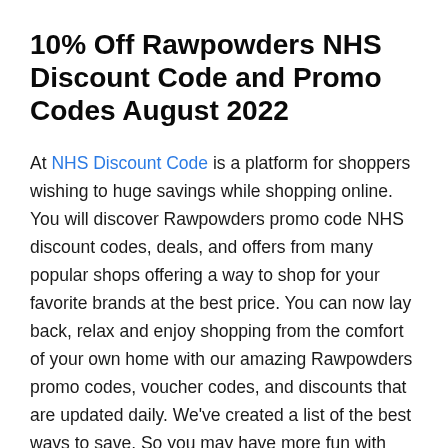10% Off Rawpowders NHS Discount Code and Promo Codes August 2022
At NHS Discount Code is a platform for shoppers wishing to huge savings while shopping online. You will discover Rawpowders promo code NHS discount codes, deals, and offers from many popular shops offering a way to shop for your favorite brands at the best price. You can now lay back, relax and enjoy shopping from the comfort of your own home with our amazing Rawpowders promo codes, voucher codes, and discounts that are updated daily. We’ve created a list of the best ways to save. So you may have more fun with Store name deals and special